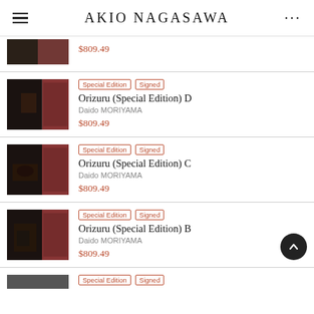AKIO NAGASAWA
$809.49
Special Edition  Signed
Orizuru (Special Edition) D
Daido MORIYAMA
$809.49
Special Edition  Signed
Orizuru (Special Edition) C
Daido MORIYAMA
$809.49
Special Edition  Signed
Orizuru (Special Edition) B
Daido MORIYAMA
$809.49
Special Edition  Signed